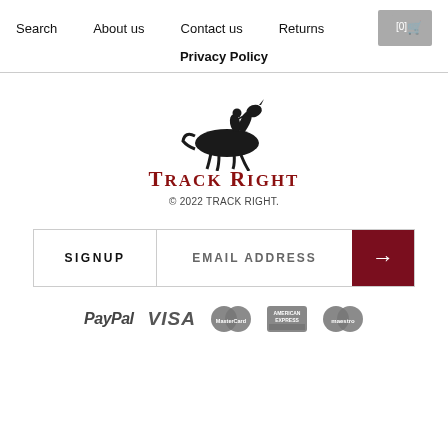Search   About us   Contact us   Returns   Privacy Policy
[Figure (logo): Track Right logo with horse and rider silhouette above brand name in dark red serif font]
© 2022 TRACK RIGHT.
[Figure (infographic): Email signup bar with SIGNUP label, EMAIL ADDRESS placeholder, and dark red arrow button]
[Figure (infographic): Payment method icons: PayPal, VISA, MasterCard, American Express, Maestro]